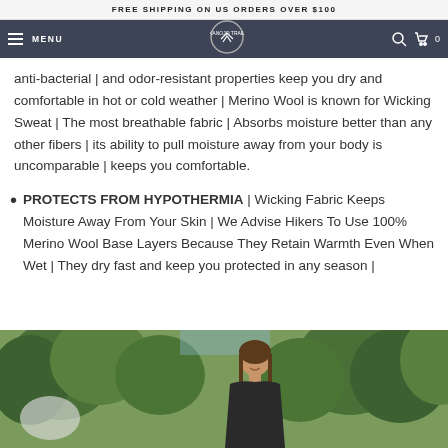FREE SHIPPING ON US ORDERS OVER $100
MENU | logo | search | cart 0
anti-bacterial | and odor-resistant properties keep you dry and comfortable in hot or cold weather | Merino Wool is known for Wicking Sweat | The most breathable fabric | Absorbs moisture better than any other fibers | its ability to pull moisture away from your body is uncomparable | keeps you comfortable.
PROTECTS FROM HYPOTHERMIA | Wicking Fabric Keeps Moisture Away From Your Skin | We Advise Hikers To Use 100% Merino Wool Base Layers Because They Retain Warmth Even When Wet | They dry fast and keep you protected in any season |
[Figure (photo): Woman smiling outdoors with green trees in background, wearing merino wool clothing]